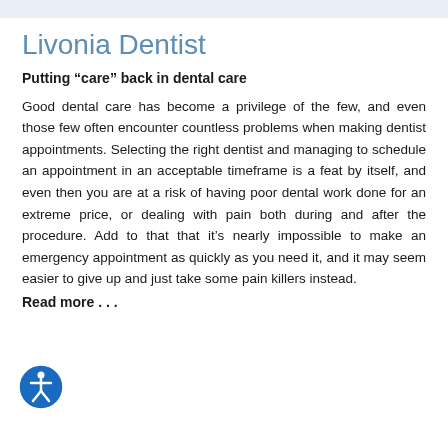Livonia Dentist
Putting “care” back in dental care
Good dental care has become a privilege of the few, and even those few often encounter countless problems when making dentist appointments. Selecting the right dentist and managing to schedule an appointment in an acceptable timeframe is a feat by itself, and even then you are at a risk of having poor dental work done for an extreme price, or dealing with pain both during and after the procedure. Add to that that it’s nearly impossible to make an emergency appointment as quickly as you need it, and it may seem easier to give up and just take some pain killers instead.
Read more . . .